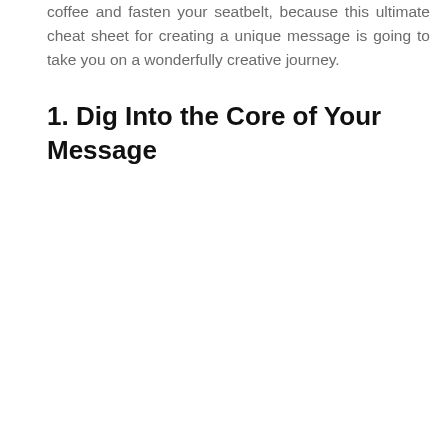coffee and fasten your seatbelt, because this ultimate cheat sheet for creating a unique message is going to take you on a wonderfully creative journey.
1. Dig Into the Core of Your Message